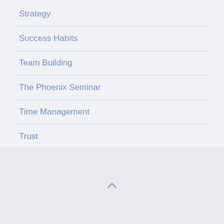Strategy
Success Habits
Team Building
The Phoenix Seminar
Time Management
Trust
Uncategorized
Using Assessments